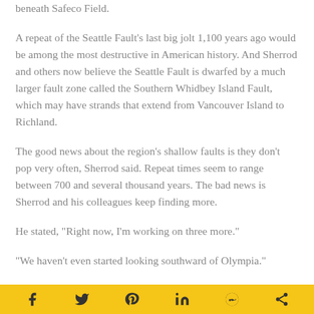beneath Safeco Field.
A repeat of the Seattle Fault's last big jolt 1,100 years ago would be among the most destructive in American history. And Sherrod and others now believe the Seattle Fault is dwarfed by a much larger fault zone called the Southern Whidbey Island Fault, which may have strands that extend from Vancouver Island to Richland.
The good news about the region's shallow faults is they don't pop very often, Sherrod said. Repeat times seem to range between 700 and several thousand years. The bad news is Sherrod and his colleagues keep finding more.
He stated, "Right now, I'm working on three more."
"We haven't even started looking southward of Olympia."
Social share bar: Facebook, Twitter, Pinterest, LinkedIn, Reddit, Share